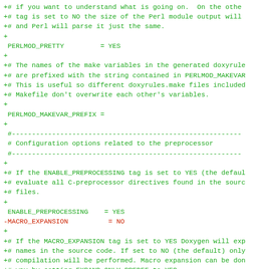Doxygen configuration file diff showing PERLMOD_PRETTY, PERLMOD_MAKEVAR_PREFIX, ENABLE_PREPROCESSING, and MACRO_EXPANSION settings